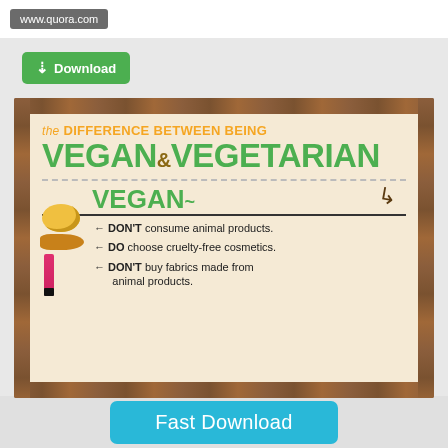www.quora.com
[Figure (infographic): Infographic titled 'The Difference Between Being Vegan & Vegetarian'. Shows a parchment-like paper on a wooden background. The Vegan section lists: DON'T consume animal products. DO choose cruelty-free cosmetics. DON'T buy fabrics made from animal products. Images show egg, honeycomb spoon, and lipstick.]
Fast Download